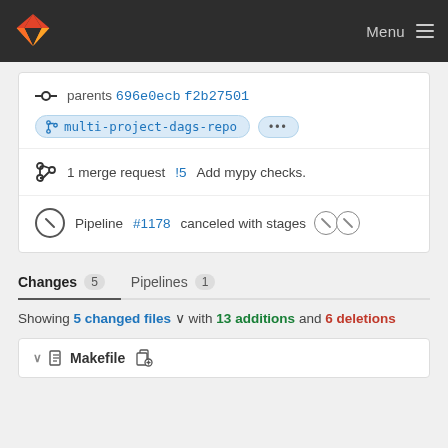GitLab Menu
parents 696e0ecb f2b27501
multi-project-dags-repo ...
1 merge request !5 Add mypy checks.
Pipeline #1178 canceled with stages
Changes 5   Pipelines 1
Showing 5 changed files with 13 additions and 6 deletions
Makefile